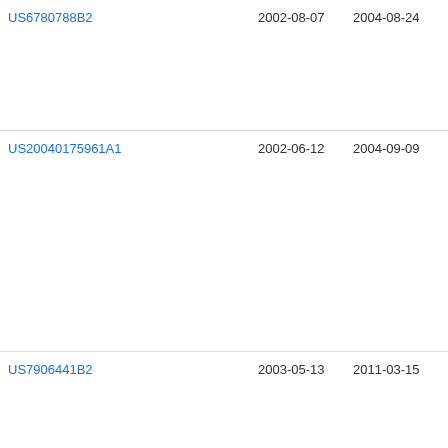| Patent Number | Filing Date | Publication Date | Assignee |
| --- | --- | --- | --- |
| US6780788B2 | 2002-08-07 | 2004-08-24 | Tai Ser Ma Ltd |
| US20040175961A1 | 2002-06-12 | 2004-09-09 | Chr |
| US7906441B2 | 2003-05-13 | 2011-03-15 | Tex Inc |
| Family To Family Citations |  |  |  |
| US6852194B2 * | 2001-05-21 | 2005-02-08 | Tok Lim |